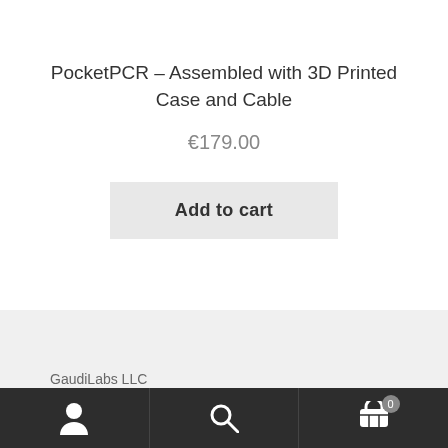PocketPCR – Assembled with 3D Printed Case and Cable
€179.00
Add to cart
GaudiLabs LLC